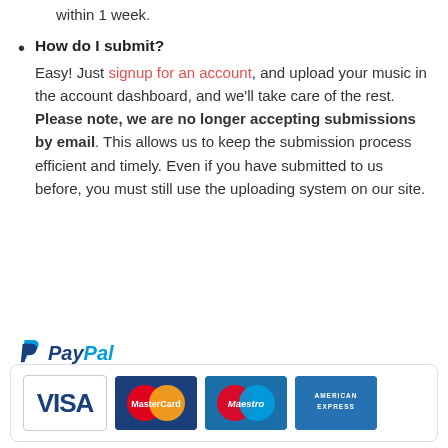within 1 week.
How do I submit? Easy! Just signup for an account, and upload your music in the account dashboard, and we'll take care of the rest. Please note, we are no longer accepting submissions by email. This allows us to keep the submission process efficient and timely. Even if you have submitted to us before, you must still use the uploading system on our site.
[Figure (logo): PayPal payment logo above a rounded box containing VISA, MasterCard, Maestro, and American Express card logos]